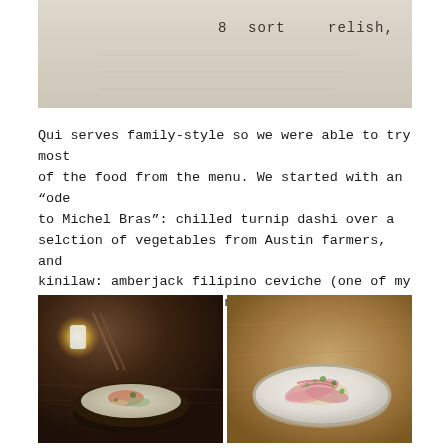[Figure (photo): Partial photo of a menu or document showing text including '8', 'sort', 'relish.' in typewriter font on white/off-white paper background]
Qui serves family-style so we were able to try most of the food from the menu. We started with an “ode to Michel Bras”: chilled turnip dashi over a selction of vegetables from Austin farmers, and kinilaw: amberjack filipino ceviche (one of my favorite dishes of the night).
[Figure (photo): Two food photos side by side on a wooden table. Left: a dark ceramic bowl containing chilled turnip dashi with vegetables, with a candle and chopsticks visible. Right: a white plate with kinilaw (amberjack Filipino ceviche) garnished with pink onions and green capers/peppercorns.]